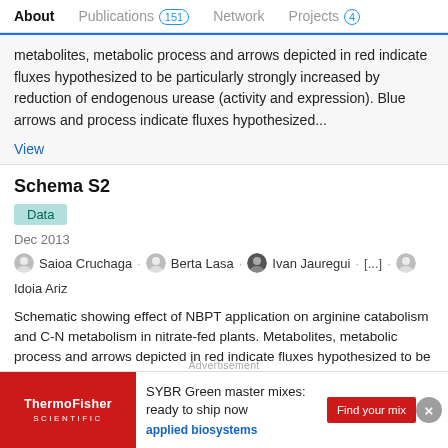About | Publications 151 | Network | Projects 4
metabolites, metabolic process and arrows depicted in red indicate fluxes hypothesized to be particularly strongly increased by reduction of endogenous urease (activity and expression). Blue arrows and process indicate fluxes hypothesized...
View
Schema S2
Data
Dec 2013
Saioa Cruchaga · Berta Lasa · Ivan Jauregui · [...] · Idoia Ariz
Schematic showing effect of NBPT application on arginine catabolism and C-N metabolism in nitrate-fed plants. Metabolites, metabolic process and arrows depicted in red indicate fluxes hypothesized to be particularly strongly